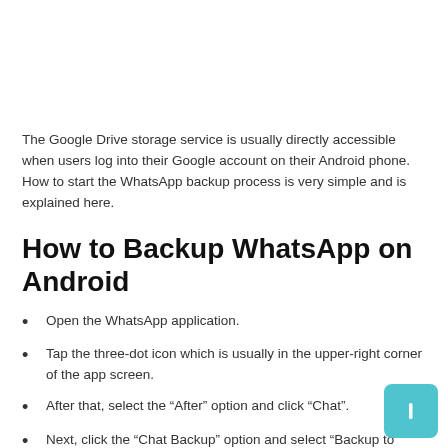The Google Drive storage service is usually directly accessible when users log into their Google account on their Android phone. How to start the WhatsApp backup process is very simple and is explained here.
How to Backup WhatsApp on Android
Open the WhatsApp application.
Tap the three-dot icon which is usually in the upper-right corner of the app screen.
After that, select the “After” option and click “Chat”.
Next, click the “Chat Backup” option and select “Backup to Google Drive”.